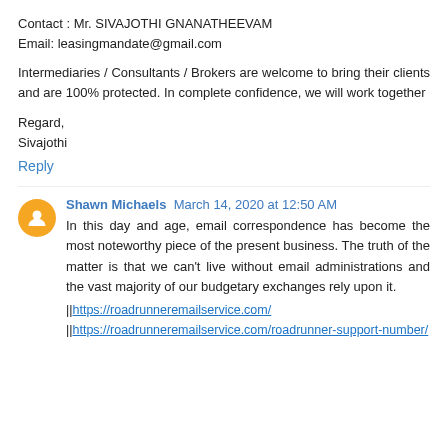Contact : Mr. SIVAJOTHI GNANATHEEVAM
Email: leasingmandate@gmail.com
Intermediaries / Consultants / Brokers are welcome to bring their clients and are 100% protected. In complete confidence, we will work together
Regard,
Sivajothi
Reply
Shawn Michaels  March 14, 2020 at 12:50 AM
In this day and age, email correspondence has become the most noteworthy piece of the present business. The truth of the matter is that we can't live without email administrations and the vast majority of our budgetary exchanges rely upon it.
||https://roadrunneremailservice.com/
||https://roadrunneremailservice.com/roadrunner-support-number/